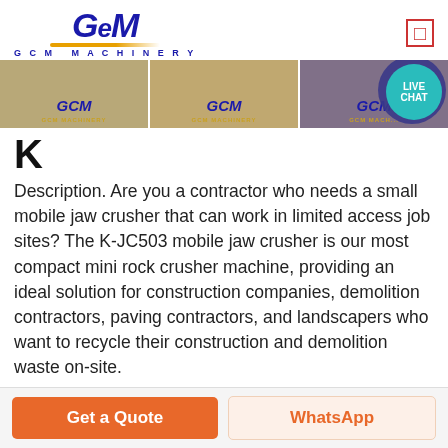GCM MACHINERY
[Figure (photo): Three banner images of GCM machinery equipment with GCM logo visible on each, and a Live Chat bubble in the top right corner]
K
Description. Are you a contractor who needs a small mobile jaw crusher that can work in limited access job sites? The K-JC503 mobile jaw crusher is our most compact mini rock crusher machine, providing an ideal solution for construction companies, demolition contractors, paving contractors, and landscapers who want to recycle their construction and demolition waste on-site.
Get Price
Get a Quote
WhatsApp